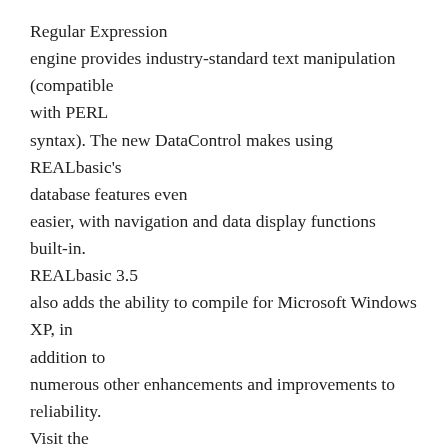Regular Expression engine provides industry-standard text manipulation (compatible with PERL syntax). The new DataControl makes using REALbasic's database features even easier, with navigation and data display functions built-in. REALbasic 3.5 also adds the ability to compile for Microsoft Windows XP, in addition to numerous other enhancements and improvements to reliability. Visit the website for more details.
REALbasic is available for US$149.95 for the Standard Edition and US$349.95 for the Professional Edition packages, direct from REAL Software.